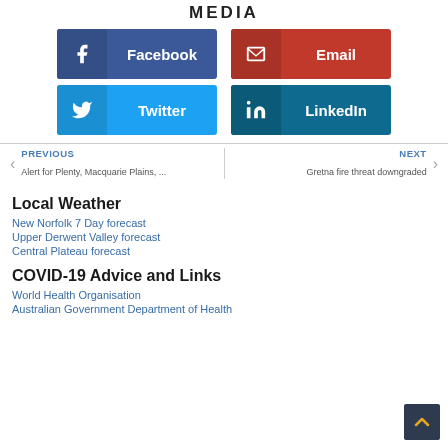MEDIA
[Figure (infographic): Social media share buttons: Facebook (blue), Email (red), Twitter (blue), LinkedIn (dark teal)]
PREVIOUS | Alert for Plenty, Macquarie Plains, ...
NEXT | Gretna fire threat downgraded
Local Weather
New Norfolk 7 Day forecast
Upper Derwent Valley forecast
Central Plateau forecast
COVID-19 Advice and Links
World Health Organisation
Australian Government Department of Health